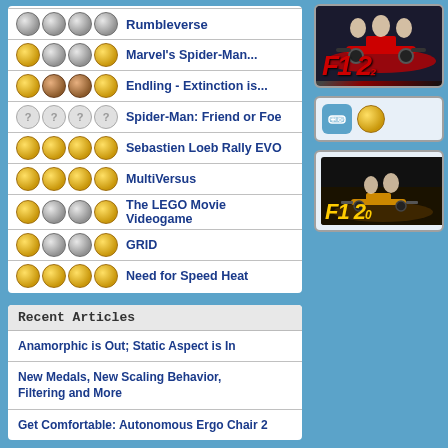Marvel's Spider-Man...
Endling - Extinction is...
Spider-Man: Friend or Foe
Sebastien Loeb Rally EVO
MultiVersus
The LEGO Movie Videogame
GRID
Need for Speed Heat
Recent Articles
Anamorphic is Out; Static Aspect is In
New Medals, New Scaling Behavior, Filtering and More
Get Comfortable: Autonomous Ergo Chair 2